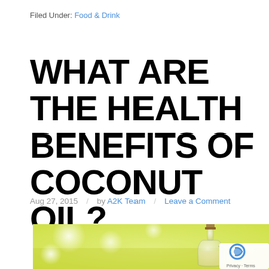Filed Under: Food & Drink
WHAT ARE THE HEALTH BENEFITS OF COCONUT OIL?
Aug 27, 2015  /  by A2K Team  /  Leave a Comment
[Figure (photo): A glass bottle with cork stopper containing coconut oil, on a blurred yellow-green background with white bokeh circles]